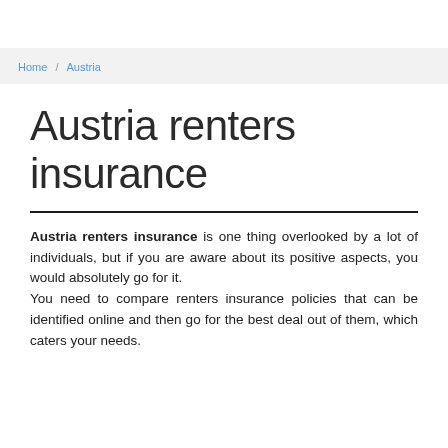Home / Austria
Austria renters insurance
Austria renters insurance is one thing overlooked by a lot of individuals, but if you are aware about its positive aspects, you would absolutely go for it. You need to compare renters insurance policies that can be identified online and then go for the best deal out of them, which caters your needs.